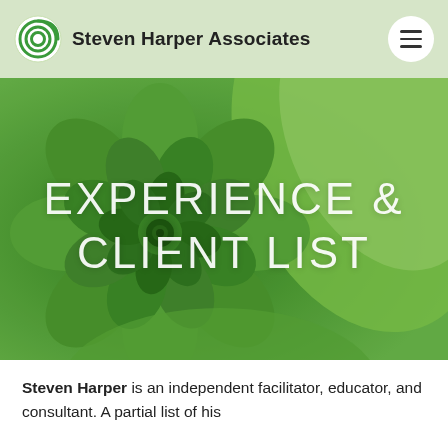Steven Harper Associates
[Figure (photo): Close-up photograph of a green succulent rosette plant with layered petals, used as hero background image]
EXPERIENCE & CLIENT LIST
Steven Harper is an independent facilitator, educator, and consultant. A partial list of his